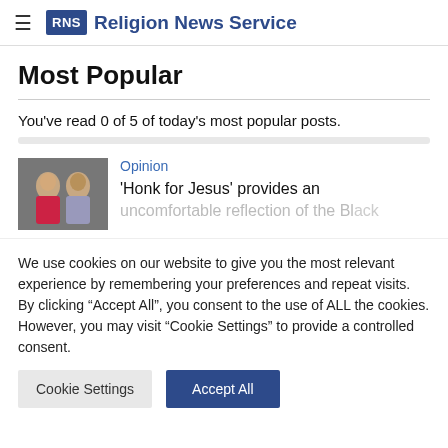RNS Religion News Service
Most Popular
You've read 0 of 5 of today's most popular posts.
[Figure (photo): Thumbnail photo of two people, a woman in red and a man in a suit, sitting together]
Opinion
'Honk for Jesus' provides an uncomfortable reflection of the Black...
We use cookies on our website to give you the most relevant experience by remembering your preferences and repeat visits. By clicking “Accept All”, you consent to the use of ALL the cookies. However, you may visit "Cookie Settings" to provide a controlled consent.
Cookie Settings  Accept All